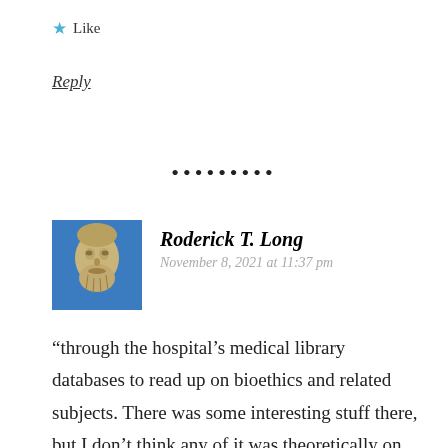★ Like
Reply
•••••••••
Roderick T. Long
November 8, 2021 at 11:37 pm
[Figure (photo): Avatar image of a stone sculpture of a bearded man against a blue background]
“through the hospital’s medical library databases to read up on bioethics and related subjects. There was some interesting stuff there, but I don’t think any of it was theoretically on par with what you would